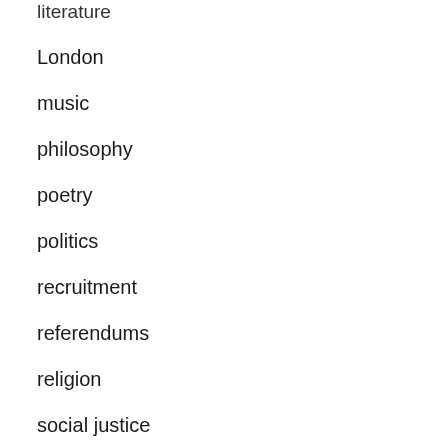literature
London
music
philosophy
poetry
politics
recruitment
referendums
religion
social justice
social reform
spirituality
Uncategorized